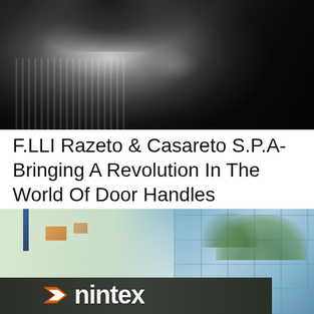[Figure (photo): Black and white photograph of two people, one with a beard in a striped shirt smiling, another person partially visible behind them]
F.LLI Razeto & Casareto S.P.A-Bringing A Revolution In The World Of Door Handles
[Figure (photo): Color photograph of a modern office building exterior with glass windows reflecting trees and sky, and a Nintex company sign/logo in the lower left]